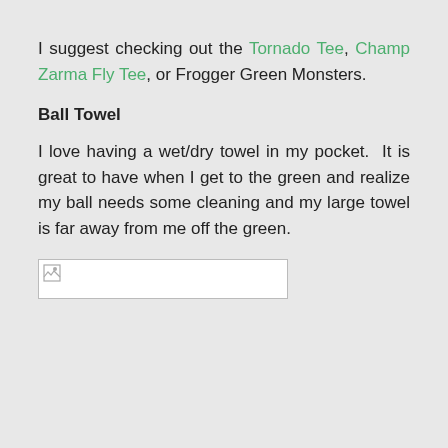I suggest checking out the Tornado Tee, Champ Zarma Fly Tee, or Frogger Green Monsters.
Ball Towel
I love having a wet/dry towel in my pocket.  It is great to have when I get to the green and realize my ball needs some cleaning and my large towel is far away from me off the green.
[Figure (other): Broken/placeholder image thumbnail with small image icon]